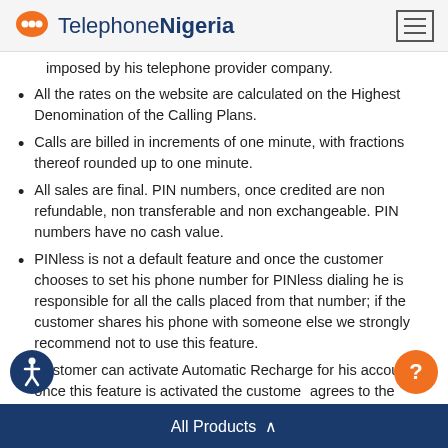TelephoneNigeria
imposed by his telephone provider company.
All the rates on the website are calculated on the Highest Denomination of the Calling Plans.
Calls are billed in increments of one minute, with fractions thereof rounded up to one minute.
All sales are final. PIN numbers, once credited are non refundable, non transferable and non exchangeable. PIN numbers have no cash value.
PINless is not a default feature and once the customer chooses to set his phone number for PINless dialing he is responsible for all the calls placed from that number; if the customer shares his phone with someone else we strongly recommend not to use this feature.
Customer can activate Automatic Recharge for his account; once this feature is activated the customer agrees to the charges that will apply on the credit/debit
All Products ∧